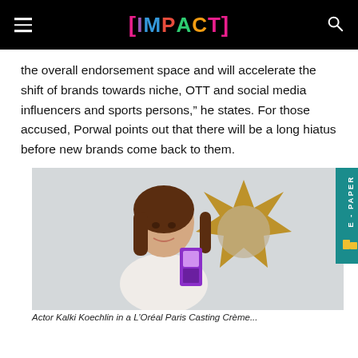[IMPACT]
the overall endorsement space and will accelerate the shift of brands towards niche, OTT and social media influencers and sports persons,” he states. For those accused, Porwal points out that there will be a long hiatus before new brands come back to them.
[Figure (photo): Actor Kalki Koechlin holding a L'Oreal Paris Casting Creme product, standing in front of a decorative star-shaped mirror]
Actor Kalki Koechlin in a L’Oréal Paris Casting Crème...